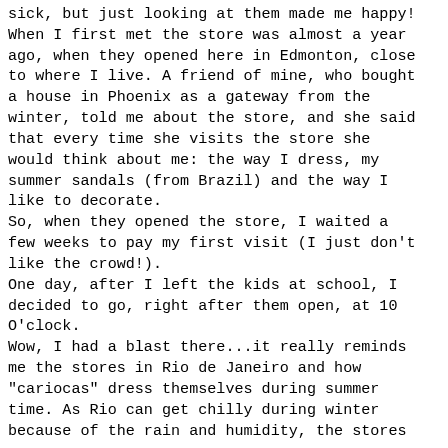sick, but just looking at them made me happy! When I first met the store was almost a year ago, when they opened here in Edmonton, close to where I live. A friend of mine, who bought a house in Phoenix as a gateway from the winter, told me about the store, and she said that every time she visits the store she would think about me: the way I dress, my summer sandals (from Brazil) and the way I like to decorate. So, when they opened the store, I waited a few weeks to pay my first visit (I just don't like the crowd!). One day, after I left the kids at school, I decided to go, right after them open, at 10 O'clock. Wow, I had a blast there...it really reminds me the stores in Rio de Janeiro and how "cariocas" dress themselves during summer time. As Rio can get chilly during winter because of the rain and humidity, the stores